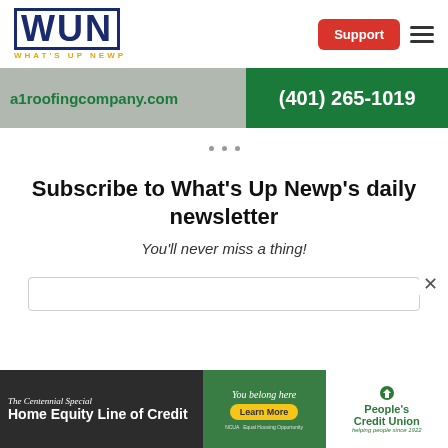[Figure (logo): WUN What's Up Newp logo with navy blue block letters and gold tagline, plus Support button and hamburger menu]
[Figure (infographic): A1 Roofing Company advertisement banner: a1roofingcompany.com on grey background and (401) 265-1019 on dark green background]
• • •
Subscribe to What's Up Newp's daily newsletter
You'll never miss a thing!
[Figure (infographic): People's Credit Union advertisement: The Centennial Special Home Equity Line of Credit, You belong here Learn More, People's Credit Union helping people since 1922]